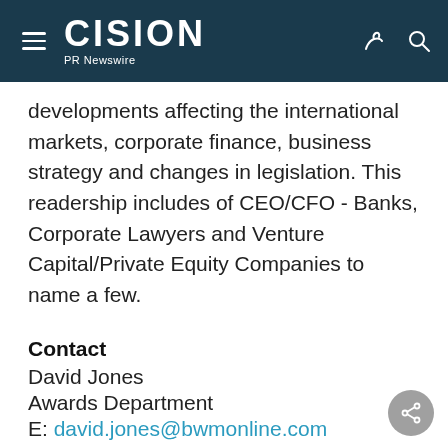CISION PR Newswire
developments affecting the international markets, corporate finance, business strategy and changes in legislation. This readership includes of CEO/CFO - Banks, Corporate Lawyers and Venture Capital/Private Equity Companies to name a few.
Contact
David Jones
Awards Department
E: david.jones@bwmonline.com
W: http://www.bwmonline.com